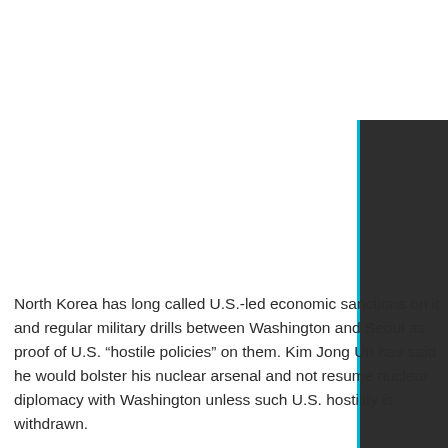[Figure (photo): Dark panel/sidebar element with cyan/blue left border on the right side of the page, positioned in the upper-right area.]
North Korea has long called U.S.-led economic sanctions on it and regular military drills between Washington and Seoul as proof of U.S. “hostile policies” on them. Kim Jong Un has said he would bolster his nuclear arsenal and not resume nuclear diplomacy with Washington unless such U.S. hostility is withdrawn.